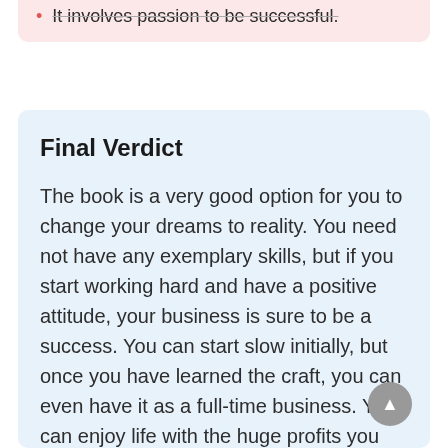It involves passion to be successful.
Final Verdict
The book is a very good option for you to change your dreams to reality. You need not have any exemplary skills, but if you start working hard and have a positive attitude, your business is sure to be a success. You can start slow initially, but once you have learned the craft, you can even have it as a full-time business. You can enjoy life with the huge profits you earn, have fun with your family, and